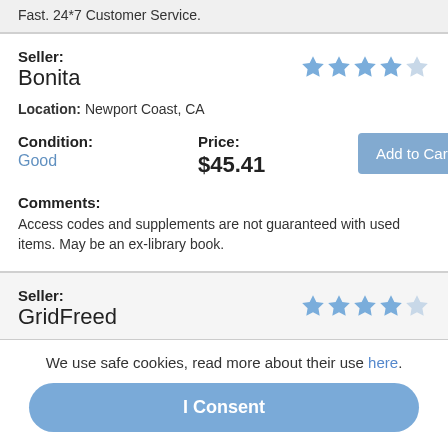Fast. 24*7 Customer Service.
Seller: Bonita
Location: Newport Coast, CA
Condition: Good
Price: $45.41
Comments: Access codes and supplements are not guaranteed with used items. May be an ex-library book.
Seller: GridFreed
Location: North Las Vegas, NV
Condition:
Price:
We use safe cookies, read more about their use here.
I Consent